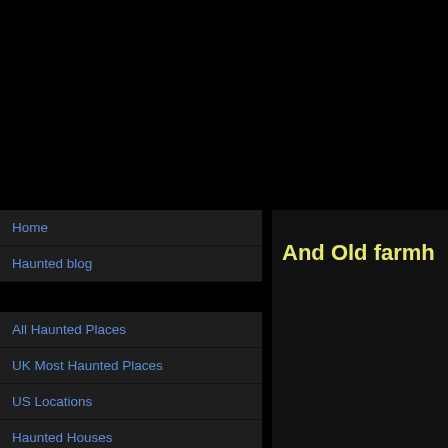Home
Haunted blog
All Haunted Places
UK Most Haunted Places
US Locations
Haunted Houses
Haunted Hospitals
And Old farmh…